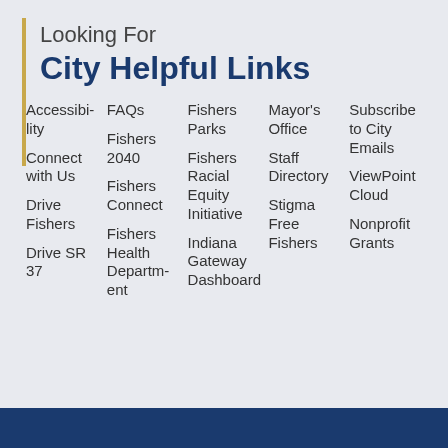Looking For
City Helpful Links
Accessibility
Connect with Us
Drive Fishers
Drive SR 37
FAQs
Fishers 2040
Fishers Connect
Fishers Health Department
Fishers Parks
Fishers Racial Equity Initiative
Indiana Gateway Dashboard
Mayor's Office
Staff Directory
Stigma Free Fishers
Subscribe to City Emails
ViewPoint Cloud
Nonprofit Grants